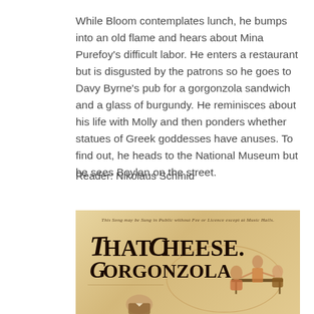While Bloom contemplates lunch, he bumps into an old flame and hears about Mina Purefoy's difficult labor. He enters a restaurant but is disgusted by the patrons so he goes to Davy Byrne's pub for a gorgonzola sandwich and a glass of burgundy. He reminisces about his life with Molly and then ponders whether statues of Greek goddesses have anuses. To find out, he heads to the National Museum but he sees Boylan on the street.
Reader: Nikolaus Schmid
[Figure (illustration): Vintage sheet music cover illustration for 'That Gorgonzola Cheese' featuring decorative large text and period cartoon figures of diners at a table, with a portrait bust at the bottom center. Aged cream/tan background with ornate Victorian typography.]